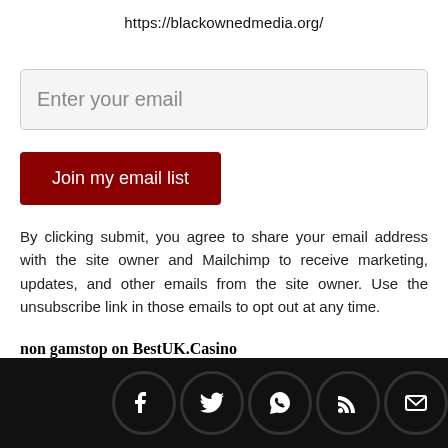https://blackownedmedia.org/
Enter your email
Join my email list
By clicking submit, you agree to share your email address with the site owner and Mailchimp to receive marketing, updates, and other emails from the site owner. Use the unsubscribe link in those emails to opt out at any time.
non gamstop on BestUK.Casino
[Figure (other): Social media icons: Facebook, Twitter, WhatsApp, RSS, Email in black circles at page footer]